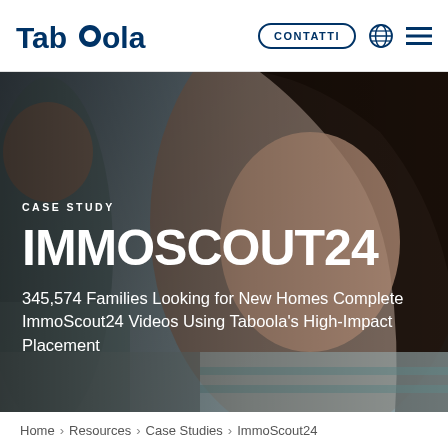Taboola — CONTATTI
CASE STUDY
IMMOSCOUT24
345,574 Families Looking for New Homes Complete ImmoScout24 Videos Using Taboola's High-Impact Placement
[Figure (photo): Background photo of a couple (man and woman) looking at each other and smiling, in soft indoor lighting. Used as hero image behind the case study headline.]
Home › Resources › Case Studies › ImmoScout24